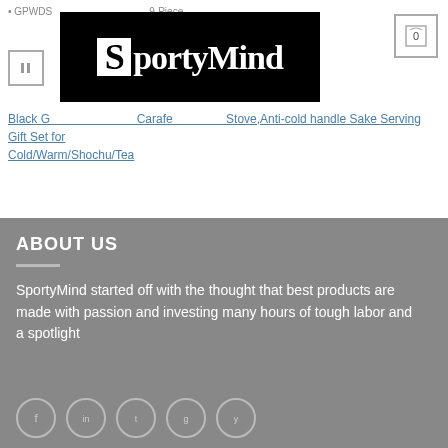GPWDS... 9-Piece
[Figure (logo): SportyMind logo — white text on black background with S in white box]
0
Black G... Carafe... Stove, Anti-cold handle Sake Serving Gift Set for Cold/Warm/Shochu/Tea
ABOUT US
SportyMind started off with the thought that best products are made with passion and investing many hours of tough labor and a spotlight
[Figure (infographic): Five circular social media icon buttons in a row]